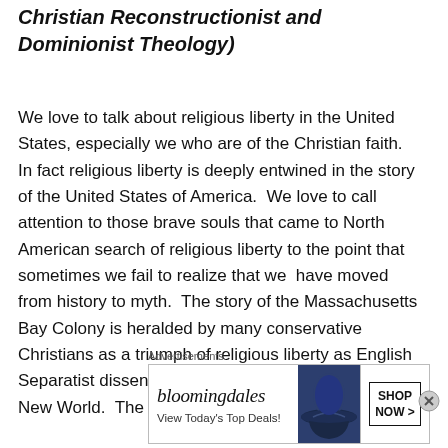Christian Reconstructionist and Dominionist Theology)
We love to talk about religious liberty in the United States, especially we who are of the Christian faith.  In fact religious liberty is deeply entwined in the story of the United States of America.  We love to call attention to those brave souls that came to North American search of religious liberty to the point that sometimes we fail to realize that we  have moved from history to myth.  The story of the Massachusetts Bay Colony is heralded by many conservative Christians as a triumph of religious liberty as English Separatist dissenters established that colony in the New World.  The story of the religious liberty
Advertisements
[Figure (other): Bloomingdale's advertisement showing logo, 'View Today's Top Deals!' text, woman in hat image, and 'SHOP NOW >' button]